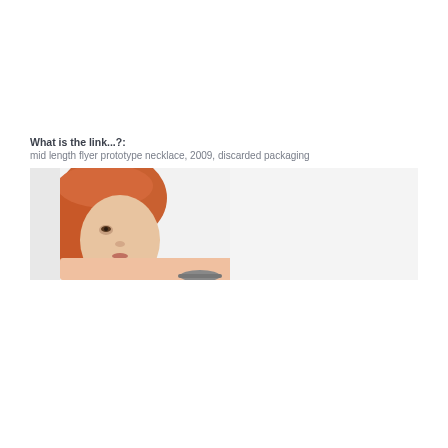What is the link...?: mid length flyer prototype necklace, 2009, discarded packaging
[Figure (photo): A cropped photo of a red-haired woman wearing a necklace, photographed against a light grey/white background. Only her face and upper chest are visible, cut off at the bottom.]